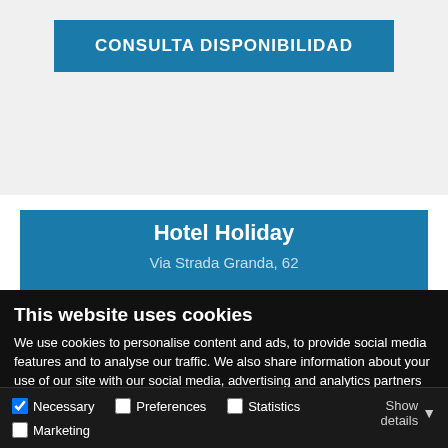[Figure (screenshot): Blue button labeled CONSULTA DISPONIBILIDAD on a light grey background]
[Figure (screenshot): Blue hotel card showing Hotel Holiday and Via Strada Granda, 62]
This website uses cookies
We use cookies to personalise content and ads, to provide social media features and to analyse our traffic. We also share information about your use of our site with our social media, advertising and analytics partners who may combine it with other information that you've provided to them or that they've collected from your use of their services.
Allow all cookies
Allow selection
Use necessary cookies only
Necessary  Preferences  Statistics  Marketing  Show details